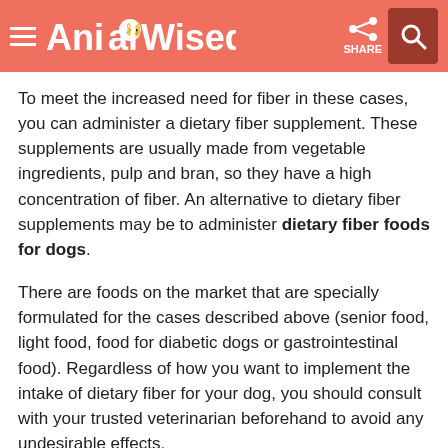AnimalWised
To meet the increased need for fiber in these cases, you can administer a dietary fiber supplement. These supplements are usually made from vegetable ingredients, pulp and bran, so they have a high concentration of fiber. An alternative to dietary fiber supplements may be to administer dietary fiber foods for dogs.
There are foods on the market that are specially formulated for the cases described above (senior food, light food, food for diabetic dogs or gastrointestinal food). Regardless of how you want to implement the intake of dietary fiber for your dog, you should consult with your trusted veterinarian beforehand to avoid any undesirable effects.
Obesity is the main cause of many diseases in dogs. Read